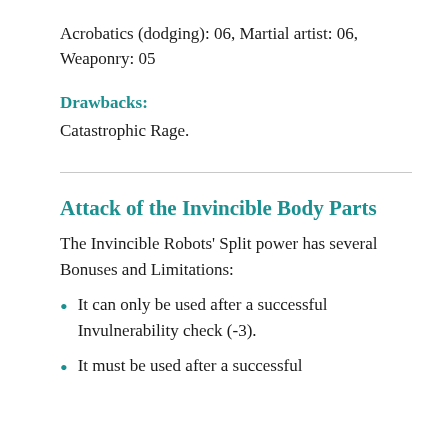Acrobatics (dodging): 06, Martial artist: 06, Weaponry: 05
Drawbacks:
Catastrophic Rage.
Attack of the Invincible Body Parts
The Invincible Robots' Split power has several Bonuses and Limitations:
It can only be used after a successful Invulnerability check (-3).
It must be used after a successful